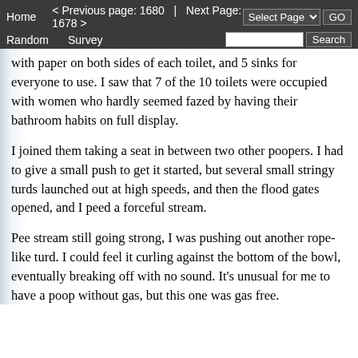Home   < Previous page: 1680  |  Next Page: 1678 >   Random   Survey   Select Page ▾  GO   Search
with paper on both sides of each toilet, and 5 sinks for everyone to use. I saw that 7 of the 10 toilets were occupied with women who hardly seemed fazed by having their bathroom habits on full display.
I joined them taking a seat in between two other poopers. I had to give a small push to get it started, but several small stringy turds launched out at high speeds, and then the flood gates opened, and I peed a forceful stream.
Pee stream still going strong, I was pushing out another rope-like turd. I could feel it curling against the bottom of the bowl, eventually breaking off with no sound. It's unusual for me to have a poop without gas, but this one was gas free.
I felt empty, so I leaned forward to grab some toilet paper, but when I did one last turd shot out with a splash. I probably wiped 6 times maybe more to get clean from that messy poop, but only a quick wipe to my front got